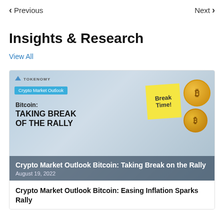Previous   Next
Insights & Research
View All
[Figure (photo): Crypto market outlook article thumbnail showing Bitcoin coins, sticky notes reading 'Break Time!', blue label 'Crypto Market Outlook', and bold text 'Bitcoin: TAKING BREAK OF THE RALLY' with overlay text 'Crypto Market Outlook Bitcoin: Taking Break on the Rally' and date 'August 19, 2022']
Crypto Market Outlook Bitcoin: Easing Inflation Sparks Rally